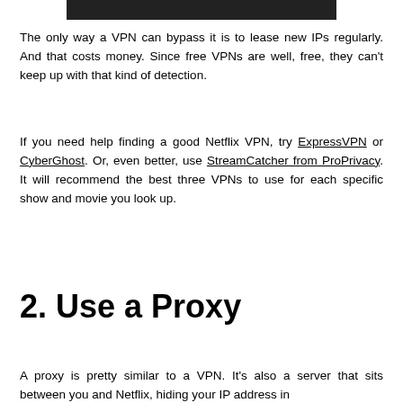[Figure (photo): Partial dark/black image strip at top of page]
The only way a VPN can bypass it is to lease new IPs regularly. And that costs money. Since free VPNs are well, free, they can't keep up with that kind of detection.
If you need help finding a good Netflix VPN, try ExpressVPN or CyberGhost. Or, even better, use StreamCatcher from ProPrivacy. It will recommend the best three VPNs to use for each specific show and movie you look up.
2. Use a Proxy
A proxy is pretty similar to a VPN. It's also a server that sits between you and Netflix, hiding your IP address in